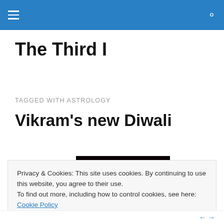The Third I — navigation header with menu and search icons
The Third I
TAGGED WITH ASTROLOGY
Vikram's new Diwali
[Figure (photo): Photo of lit Diwali candles/diyas glowing in the dark]
Privacy & Cookies: This site uses cookies. By continuing to use this website, you agree to their use.
To find out more, including how to control cookies, see here: Cookie Policy
Close and accept